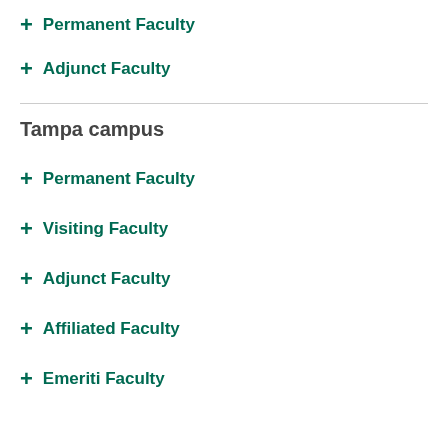+ Permanent Faculty
+ Adjunct Faculty
Tampa campus
+ Permanent Faculty
+ Visiting Faculty
+ Adjunct Faculty
+ Affiliated Faculty
+ Emeriti Faculty